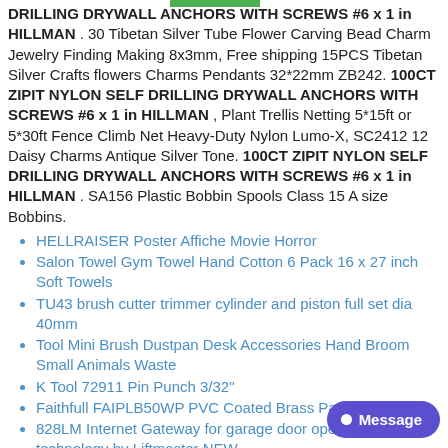DRILLING DRYWALL ANCHORS WITH SCREWS #6 x 1 in HILLMAN . 30 Tibetan Silver Tube Flower Carving Bead Charm Jewelry Finding Making 8x3mm, Free shipping 15PCS Tibetan Silver Crafts flowers Charms Pendants 32*22mm ZB242. 100CT ZIPIT NYLON SELF DRILLING DRYWALL ANCHORS WITH SCREWS #6 x 1 in HILLMAN , Plant Trellis Netting 5*15ft or 5*30ft Fence Climb Net Heavy-Duty Nylon Lumo-X, SC2412 12 Daisy Charms Antique Silver Tone. 100CT ZIPIT NYLON SELF DRILLING DRYWALL ANCHORS WITH SCREWS #6 x 1 in HILLMAN . SA156 Plastic Bobbin Spools Class 15 A size Bobbins.
HELLRAISER Poster Affiche Movie Horror
Salon Towel Gym Towel Hand Cotton 6 Pack 16 x 27 inch Soft Towels
TU43 brush cutter trimmer cylinder and piston full set dia 40mm
Tool Mini Brush Dustpan Desk Accessories Hand Broom Small Animals Waste
K Tool 72911 Pin Punch 3/32"
Faithfull FAIPLB50WP PVC Coated Brass Padlock 50mm
828LM Internet Gateway for garage door opener MyQ technology by Liftmaster NEW